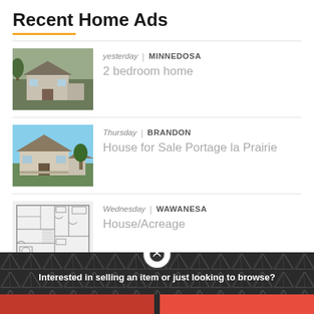Recent Home Ads
yesterday | MINNEDOSA
2 bedroom home
Thursday | BRANDON
House for Sale Portage la Prairie
Wednesday | WAWANESA
House/Acreage
More Homes >
Interested in selling an item or just looking to browse?